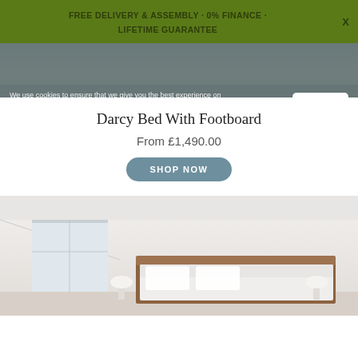FREE DELIVERY & ASSEMBLY · 0% FINANCE · LIFETIME GUARANTEE
[Figure (photo): Partial view of a bedroom product image with rug texture visible, partially obscured by cookie consent overlay]
We use cookies to ensure that we give you the best experience on our website. If you continue we'll assume that you are understand this. Learn more
Darcy Bed With Footboard
From £1,490.00
SHOP NOW
[Figure (photo): Bedroom interior showing a white room with natural light, wooden bed frame with white bedding and bedside lamps]